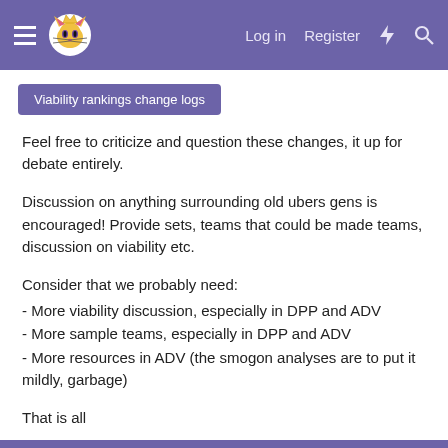Log in  Register
Viability rankings change logs
Feel free to criticize and question these changes, it up for debate entirely.
Discussion on anything surrounding old ubers gens is encouraged! Provide sets, teams that could be made teams, discussion on viability etc.
Consider that we probably need:
- More viability discussion, especially in DPP and ADV
- More sample teams, especially in DPP and ADV
- More resources in ADV (the smogon analyses are to put it mildly, garbage)
That is all
Last edited: Jul 17, 2017